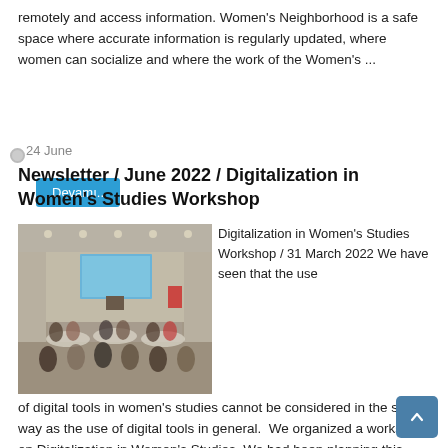remotely and access information. Women's Neighborhood is a safe space where accurate information is regularly updated, where women can socialize and where the work of the Women's ...
Devamı..
24 June
Newsletter / June 2022 / Digitalization in Women's Studies Workshop
[Figure (photo): Conference room with attendees seated at round tables, a presenter at the front, a blue presentation screen visible, Turkish flag, and ceiling lights.]
Digitalization in Women's Studies Workshop / 31 March 2022 We have seen that the use of digital tools in women's studies cannot be considered in the same way as the use of digital tools in general.  We organized a workshop on Digitalization in Women's Studies. We had been planning this ...